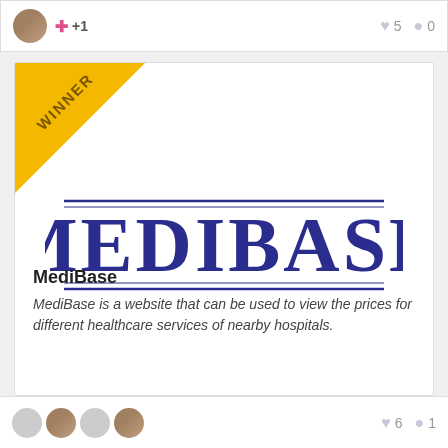[Figure (screenshot): Top social card strip with avatar, +1, heart count 5 and comment count 0]
[Figure (logo): MEDIBASE logo with dark blue serif text and horizontal lines above and below, with WINNER ribbon in top-left corner]
MediBase
MediBase is a website that can be used to view the prices for different healthcare services of nearby hospitals.
[Figure (screenshot): Bottom social card strip with multiple user avatars, heart count 6 and comment count 1]